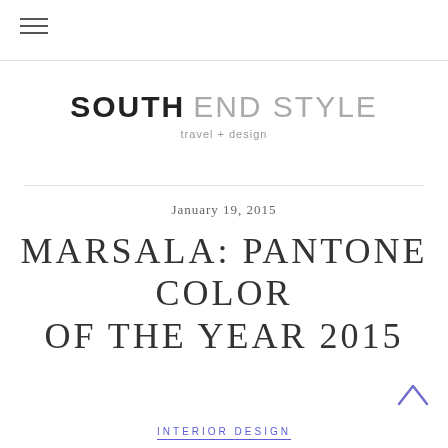≡
SOUTH END STYLE
travel + design
January 19, 2015
MARSALA: PANTONE COLOR OF THE YEAR 2015
INTERIOR DESIGN